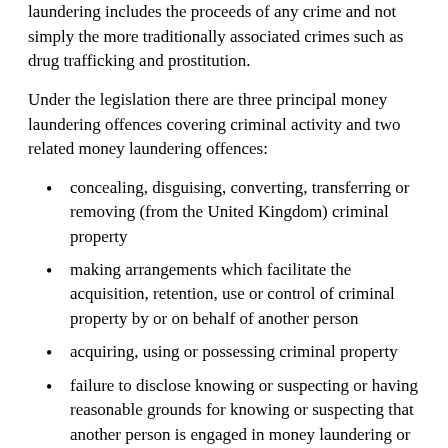laundering includes the proceeds of any crime and not simply the more traditionally associated crimes such as drug trafficking and prostitution.
Under the legislation there are three principal money laundering offences covering criminal activity and two related money laundering offences:
concealing, disguising, converting, transferring or removing (from the United Kingdom) criminal property
making arrangements which facilitate the acquisition, retention, use or control of criminal property by or on behalf of another person
acquiring, using or possessing criminal property
failure to disclose knowing or suspecting or having reasonable grounds for knowing or suspecting that another person is engaged in money laundering or terrorist funding
revealing that a disclosure of suspicion of money laundering has been made or that an investigation